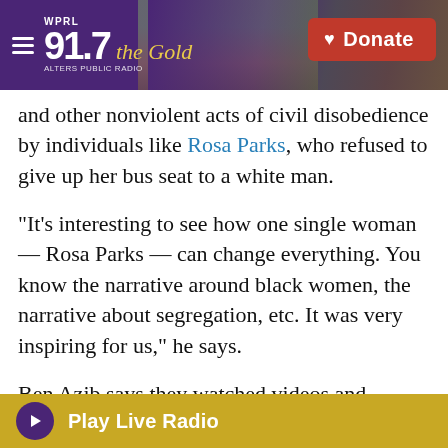WPRL 91.7 the Gold — Donate
and other nonviolent acts of civil disobedience by individuals like Rosa Parks, who refused to give up her bus seat to a white man.
"It's interesting to see how one single woman — Rosa Parks — can change everything. You know the narrative around black women, the narrative about segregation, etc. It was very inspiring for us," he says.
Ben Azib says they watched videos and studied speeches. "We want to change the way Muslim women are viewed in France," he says.
The court decision on whether to allow the burkini
Play Live Radio